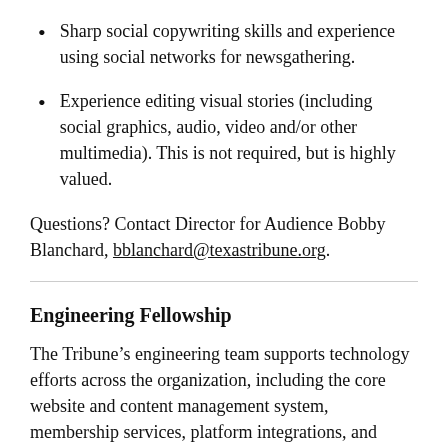Sharp social copywriting skills and experience using social networks for newsgathering.
Experience editing visual stories (including social graphics, audio, video and/or other multimedia). This is not required, but is highly valued.
Questions? Contact Director for Audience Bobby Blanchard, bblanchard@texastribune.org.
Engineering Fellowship
The Tribune’s engineering team supports technology efforts across the organization, including the core website and content management system, membership services, platform integrations, and analytics products. We want fellows who can help expand on and integrate